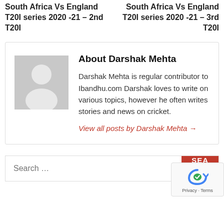South Africa Vs England T20I series 2020 -21 – 2nd T20I
South Africa Vs England T20I series 2020 -21 – 3rd T20I
[Figure (other): Author bio box with placeholder avatar image, author name 'About Darshak Mehta', bio text, and link]
About Darshak Mehta
Darshak Mehta is regular contributor to Ibandhu.com Darshak loves to write on various topics, however he often writes stories and news on cricket.
View all posts by Darshak Mehta →
Search ...